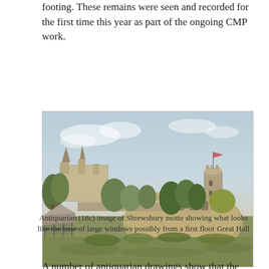footing. These remains were seen and recorded for the first time this year as part of the ongoing CMP work.
[Figure (illustration): Antiquarian (18c) watercolour illustration of Shrewsbury motte castle showing stone walls with battlements, a round tower on a hill on the right, trees and shrubs in the foreground and middle ground, and a building with spires visible on the left. A fence/gate structure is visible in the foreground left. The sky shows light clouds.]
Antiquarian (18c) image of Shrewsbury motte showing what looks like the base of large windows possibly from a first floor Great Hall
A number of antiquarian drawings show that the great...